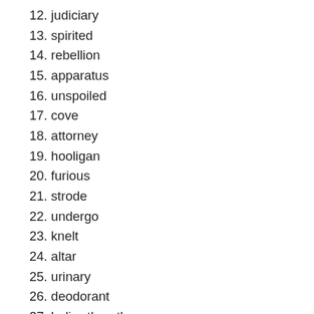12. judiciary
13. spirited
14. rebellion
15. apparatus
16. unspoiled
17. cove
18. attorney
19. hooligan
20. furious
21. strode
22. undergo
23. knelt
24. altar
25. urinary
26. deodorant
27. holier-than-thou
28. leek
29. hip flask
30. cornflake